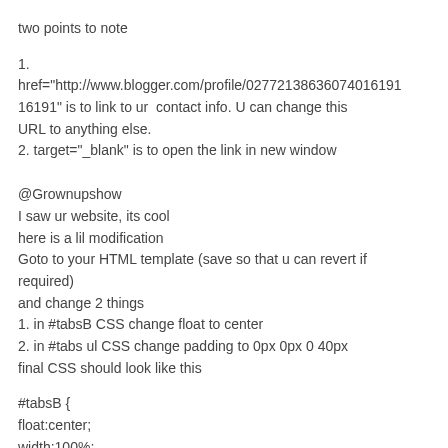two points to note
1.
href="http://www.blogger.com/profile/02772138636074016191" is to link to ur contact info. U can change this URL to anything else.
2. target="_blank" is to open the link in new window
@Grownupshow
I saw ur website, its cool
here is a lil modification
Goto to your HTML template (save so that u can revert if required)
and change 2 things
1. in #tabsB CSS change float to center
2. in #tabs ul CSS change padding to 0px 0px 0 40px
final CSS should look like this
#tabsB {
float:center;
width:100%;